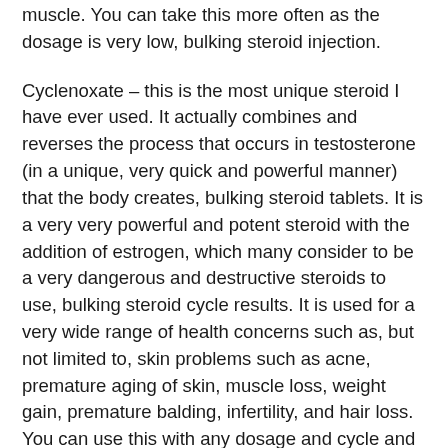muscle. You can take this more often as the dosage is very low, bulking steroid injection.
Cyclenoxate – this is the most unique steroid I have ever used. It actually combines and reverses the process that occurs in testosterone (in a unique, very quick and powerful manner) that the body creates, bulking steroid tablets. It is a very very powerful and potent steroid with the addition of estrogen, which many consider to be a very dangerous and destructive steroids to use, bulking steroid cycle results. It is used for a very wide range of health concerns such as, but not limited to, skin problems such as acne, premature aging of skin, muscle loss, weight gain, premature balding, infertility, and hair loss. You can use this with any dosage and cycle and can even gain weight with this substance, bulking steroid stack for sale.